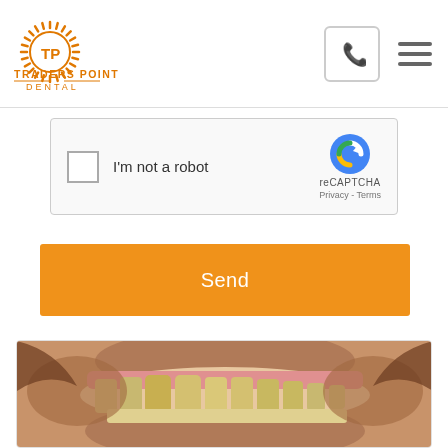[Figure (logo): Traders Point Dental logo with orange sunburst TP monogram and text 'TRADERS POINT DENTAL']
[Figure (screenshot): reCAPTCHA widget with checkbox labeled 'I'm not a robot' and reCAPTCHA logo with Privacy/Terms links]
Send
[Figure (photo): Close-up photo of a person's open mouth showing teeth, dental before/after style image]